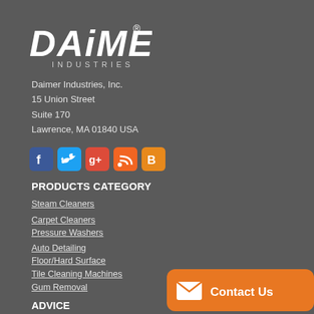[Figure (logo): Daimer Industries logo with italic bold text 'DAiMER' and 'INDUSTRIES' below in spaced tracking]
Daimer Industries, Inc.
15 Union Street
Suite 170
Lawrence, MA 01840 USA
[Figure (infographic): Social media icons: Facebook (blue), Twitter (light blue), Google+ (red), RSS (orange), Blogger (orange)]
PRODUCTS CATEGORY
Steam Cleaners
Carpet Cleaners
Pressure Washers
Auto Detailing
Floor/Hard Surface
Tile Cleaning Machines
Gum Removal
ADVICE
Products by Application
[Figure (other): Orange Contact Us button with envelope icon in bottom right corner]